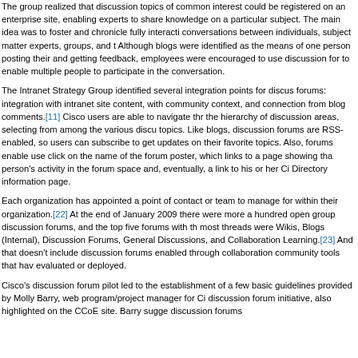The group realized that discussion topics of common interest could be registered on an enterprise site, enabling experts to share knowledge on a particular subject. The main idea was to foster and chronicle fully interactive conversations between individuals, subject matter experts, groups, and t. Although blogs were identified as the means of one person posting their and getting feedback, employees were encouraged to use discussion for to enable multiple people to participate in the conversation.
The Intranet Strategy Group identified several integration points for discussion forums: integration with intranet site content, with community context, and connection from blog comments.[11] Cisco users are able to navigate through the hierarchy of discussion areas, selecting from among the various discussion topics. Like blogs, discussion forums are RSS-enabled, so users can subscribe to get updates on their favorite topics. Also, forums enable users to click on the name of the forum poster, which links to a page showing that person's activity in the forum space and, eventually, a link to his or her Cisco Directory information page.
Each organization has appointed a point of contact or team to manage forums within their organization.[22] At the end of January 2009 there were more than a hundred open group discussion forums, and the top five forums with the most threads were Wikis, Blogs (Internal), Discussion Forums, General Discussions, and Collaboration Learning.[23] And that doesn't include discussion forums enabled through collaboration community tools that have been evaluated or deployed.
Cisco's discussion forum pilot led to the establishment of a few basic guidelines provided by Molly Barry, web program/project manager for Cisco's discussion forum initiative, also highlighted on the CCoE site. Barry suggests discussion forums